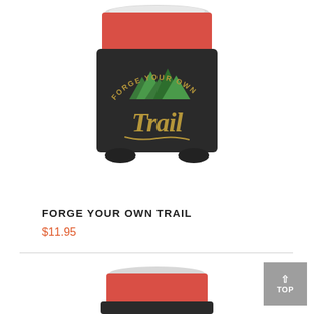[Figure (photo): A can koozie/can cooler with a black neoprene sleeve. A red beverage can is visible at the top. The sleeve has a design with mountains in green and text reading 'FORGE YOUR OWN' arched at the top and 'Trail' in large cursive script in the center, all in olive/gold color.]
FORGE YOUR OWN TRAIL
$11.95
[Figure (photo): Partial view of the bottom of the same can koozie product, showing the red can top and the beginning of the black sleeve from below.]